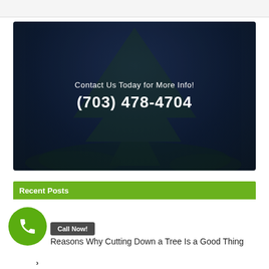[Figure (photo): Dark nighttime photo of a large tree against a deep navy blue background with text overlay showing contact information]
Contact Us Today for More Info!
(703) 478-4704
Recent Posts
Call Now!
Reasons Why Cutting Down a Tree Is a Good Thing